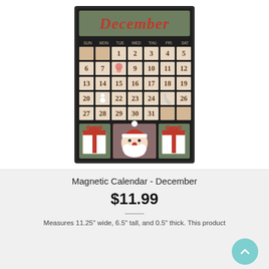[Figure (photo): A magnetic December calendar board with Christmas decoration tiles (Santa, gift boxes). Calendar shows all days of December with decorative tiles on some days. The board has a dark frame with green and red accents, and the word 'December' in red script at the top.]
Magnetic Calendar - December
$11.99
Measures 11.25" wide, 6.5" tall, and 0.5" thick. This product